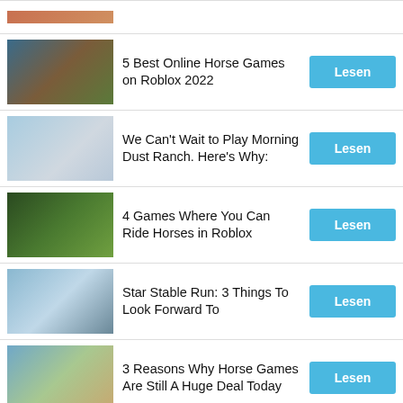5 Best Online Horse Games on Roblox 2022
We Can't Wait to Play Morning Dust Ranch. Here's Why:
4 Games Where You Can Ride Horses in Roblox
Star Stable Run: 3 Things To Look Forward To
3 Reasons Why Horse Games Are Still A Huge Deal Today
The Best Red Dead Redemption 2 Horses
Winx vs. Black Caviar: Who Wins the Battle of the Super